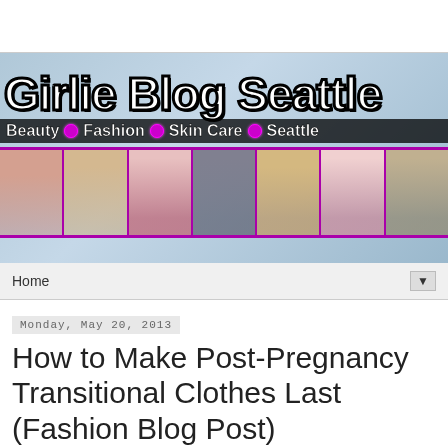[Figure (screenshot): Girlie Blog Seattle website banner with blog title, subtitle categories, and thumbnail image strip]
Home
Monday, May 20, 2013
How to Make Post-Pregnancy Transitional Clothes Last (Fashion Blog Post)